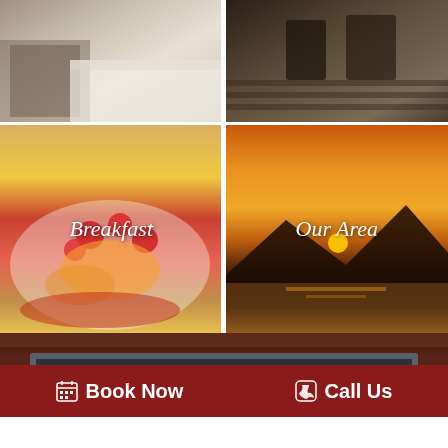[Figure (photo): Hotel bedroom with plaid pillow and white bedding]
[Figure (photo): Wicker chairs on a wooden porch or deck]
[Figure (photo): Breakfast plate with waffles, peaches, raspberries and sauce, labeled Breakfast]
[Figure (photo): Sunset over mountains and lake, labeled Our Area]
[Figure (photo): Dark wood fireplace or headboard close-up]
Book Now
Call Us